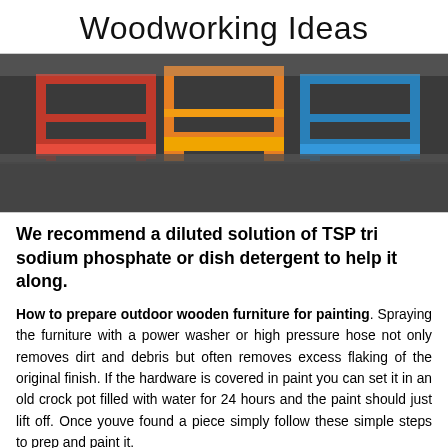Woodworking Ideas
[Figure (photo): Three wooden chairs painted in red, yellow/orange, and blue colors arranged side by side on a dark ground surface outdoors.]
We recommend a diluted solution of TSP tri sodium phosphate or dish detergent to help it along.
How to prepare outdoor wooden furniture for painting. Spraying the furniture with a power washer or high pressure hose not only removes dirt and debris but often removes excess flaking of the original finish. If the hardware is covered in paint you can set it in an old crock pot filled with water for 24 hours and the paint should just lift off. Once youve found a piece simply follow these simple steps to prep and paint it.